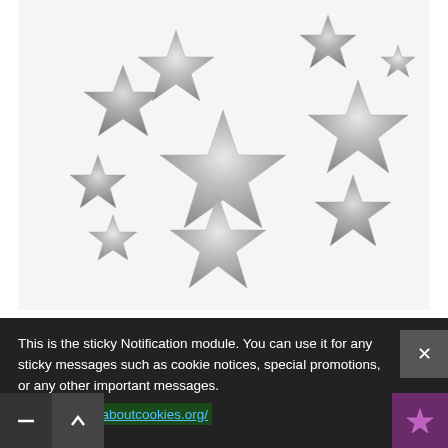[Figure (photo): Multiple silver glitter star shaped decorations scattered on a white background, various sizes]
DESCRIPTION →
$3.59  $3.99
This is the sticky Notification module. You can use it for any sticky messages such as cookie notices, special promotions, or any other important messages. http://www.allaboutcookies.org/